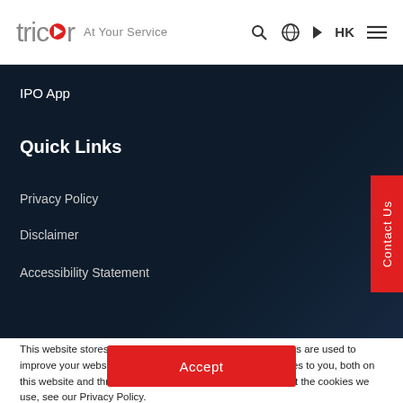tricor At Your Service
IPO App
Quick Links
Privacy Policy
Disclaimer
Accessibility Statement
This website stores cookies on your computer. These cookies are used to improve your website and provide more personalized services to you, both on this website and through other media. To find out more about the cookies we use, see our Privacy Policy.
Accept